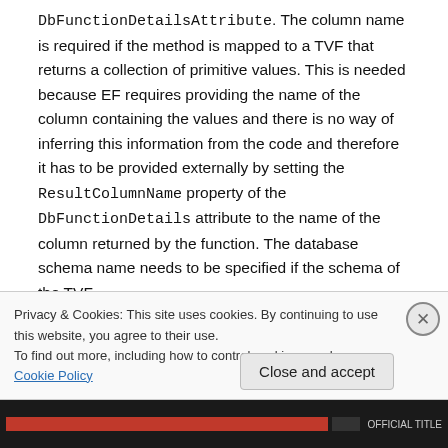DbFunctionDetailsAttribute. The column name is required if the method is mapped to a TVF that returns a collection of primitive values. This is needed because EF requires providing the name of the column containing the values and there is no way of inferring this information from the code and therefore it has to be provided externally by setting the ResultColumnName property of the DbFunctionDetails attribute to the name of the column returned by the function. The database schema name needs to be specified if the schema of the TVF
Privacy & Cookies: This site uses cookies. By continuing to use this website, you agree to their use.
To find out more, including how to control cookies, see here: Cookie Policy
Close and accept